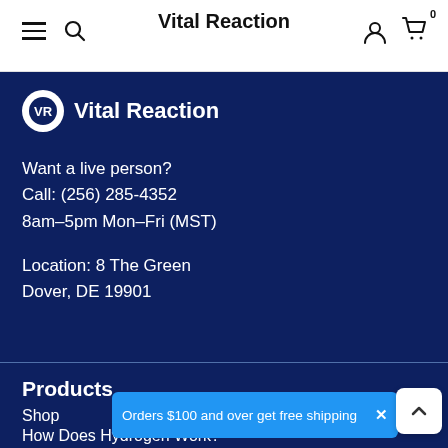Vital Reaction
[Figure (logo): Vital Reaction logo: white VR circle icon with text 'Vital Reaction']
Want a live person?
Call: (256) 285-4352
8am–5pm Mon–Fri (MST)
Location: 8 The Green
Dover, DE 19901
Products
Shop
How Does Hydrogen Work?
Orders $100 and over get free shipping